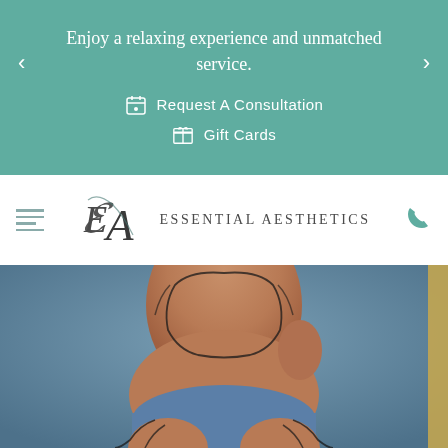Enjoy a relaxing experience and unmatched service.
Request A Consultation
Gift Cards
[Figure (logo): Essential Aesthetics logo with stylized EA monogram]
[Figure (photo): Close-up of woman's torso in blue bikini bottom with surgical body contouring lines drawn on abdomen and thighs, against blue-grey background]